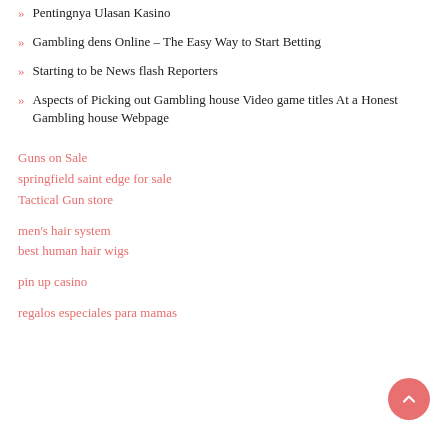Pentingnya Ulasan Kasino
Gambling dens Online – The Easy Way to Start Betting
Starting to be News flash Reporters
Aspects of Picking out Gambling house Video game titles At a Honest Gambling house Webpage
Guns on Sale
springfield saint edge for sale
Tactical Gun store
men's hair system
best human hair wigs
pin up casino
regalos especiales para mamas